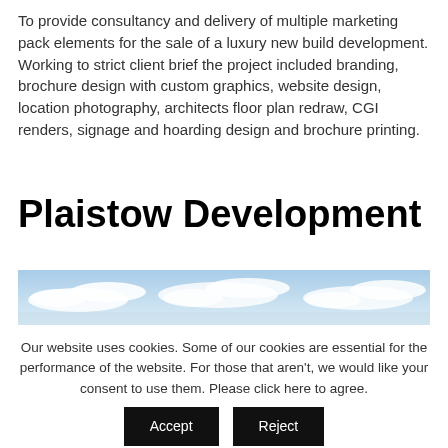To provide consultancy and delivery of multiple marketing pack elements for the sale of a luxury new build development. Working to strict client brief the project included branding, brochure design with custom graphics, website design, location photography, architects floor plan redraw, CGI renders, signage and hoarding design and brochure printing.
Plaistow Development
[Figure (photo): Wide panoramic photo showing a blue sky with scattered clouds, likely a location photo for the Plaistow Development.]
Our website uses cookies. Some of our cookies are essential for the performance of the website. For those that aren't, we would like your consent to use them. Please click here to agree.
Accept
Reject
To learn more about the cookies we use, please view our cookie policy Click here